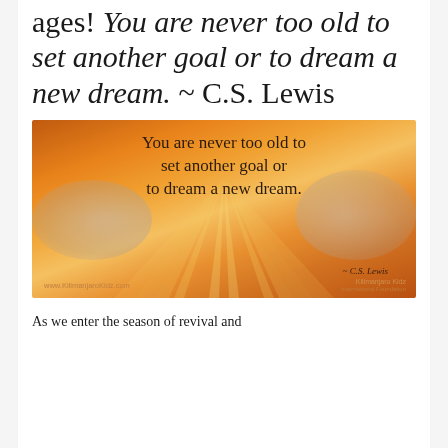ages! You are never too old to set another goal or to dream a new dream. ~ C.S. Lewis
[Figure (illustration): Inspirational quote image with sunset/sunray background and clouds. Text reads: 'You are never too old to set another goal or to dream a new dream.' with attribution '~ C.S. Lewis'. URL www.KilimanjaroKidz.com shown at bottom left, Kilimanjaro Kidz logo at bottom right.]
As we enter the season of revival and